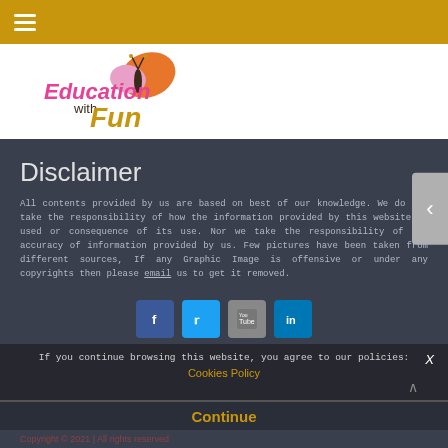≡ (hamburger menu)
[Figure (logo): Education with Fun logo — colorful text with butterfly graphic]
Disclaimer
All contents provided by us are based on best of our knowledge. We do not take the responsibility of how the information provided by this website is used or consequence of its use. Nor we take the responsibility of the accuracy of information provided by us. Few pictures have been taken from different sources, If any Graphic Image is offensive or under any copyrights then please email us to get it removed.
[Figure (infographic): Social media icons: Facebook, Twitter, YouTube, LinkedIn]
If you continue browsing this website, you agree to our policies:
Cookies Policy
Continue
Copyright © 2021 | All rights reserved